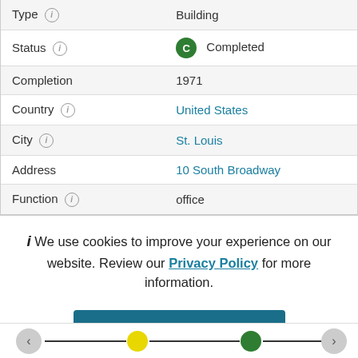| Field | Value |
| --- | --- |
| Type | Building |
| Status | C  Completed |
| Completion | 1971 |
| Country | United States |
| City | St. Louis |
| Address | 10 South Broadway |
| Function | office |
We use cookies to improve your experience on our website. Review our Privacy Policy for more information.
✓ Allow cookies
[Figure (other): Image slider navigation bar with left arrow, yellow dot, green dot, and right arrow]